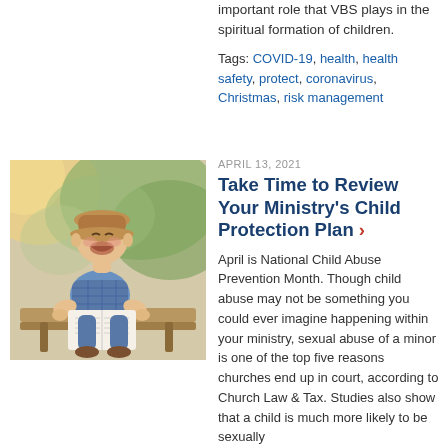important role that VBS plays in the spiritual formation of children.
Tags: COVID-19, health, health safety, protect, coronavirus, Christmas, risk management
[Figure (photo): Young child laughing while sitting on a bench outdoors holding an open book, wearing a plaid shirt and hat]
APRIL 13, 2021
Take Time to Review Your Ministry's Child Protection Plan
April is National Child Abuse Prevention Month. Though child abuse may not be something you could ever imagine happening within your ministry, sexual abuse of a minor is one of the top five reasons churches end up in court, according to Church Law & Tax. Studies also show that a child is much more likely to be sexually